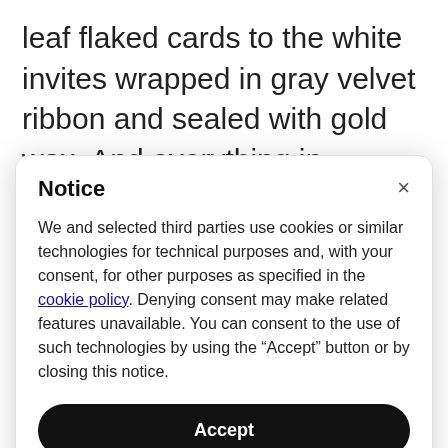leaf flaked cards to the white invites wrapped in gray velvet ribbon and sealed with gold wax. And everything in between like the printed glassine envelops for the macrons and confetti I had dried from flowers all between in the...
Notice
We and selected third parties use cookies or similar technologies for technical purposes and, with your consent, for other purposes as specified in the cookie policy. Denying consent may make related features unavailable. You can consent to the use of such technologies by using the “Accept” button or by closing this notice.
Accept
Learn more and customize